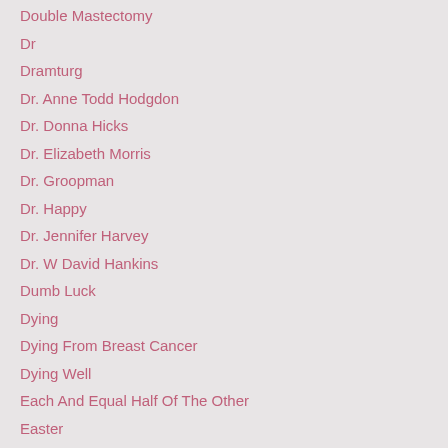Double Mastectomy
Dr
Dramturg
Dr. Anne Todd Hodgdon
Dr. Donna Hicks
Dr. Elizabeth Morris
Dr. Groopman
Dr. Happy
Dr. Jennifer Harvey
Dr. W David Hankins
Dumb Luck
Dying
Dying From Breast Cancer
Dying Well
Each And Equal Half Of The Other
Easter
Edinburgh Fringe Festival
Eli J Finkel
Eli Zollar